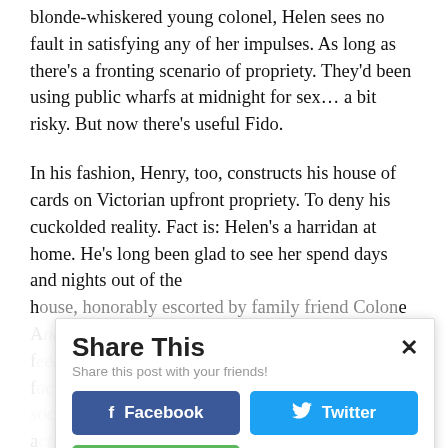blonde-whiskered young colonel, Helen sees no fault in satisfying any of her impulses. As long as there's a fronting scenario of propriety. They'd been using public wharfs at midnight for sex… a bit risky. But now there's useful Fido.
In his fashion, Henry, too, constructs his house of cards on Victorian upfront propriety. To deny his cuckolded reality. Fact is: Helen's a harridan at home. He's long been glad to see her spend days and nights out of the house, honorably escorted by family friend Colonel... [partially obscured by Share This popup]
[Figure (screenshot): Share This popup overlay with title 'Share This', subtitle 'Share this post with your friends!', Facebook button (blue), Twitter button (cyan/blue), and Print Friendly button (green), with a close X button in top right corner.]